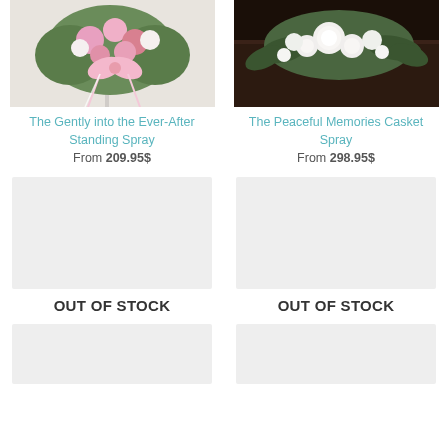[Figure (photo): Floral standing spray with pink bow and pink/white flowers on a stand]
The Gently into the Ever-After Standing Spray
From 209.95$
[Figure (photo): White casket spray with white carnations and green foliage on dark wood casket]
The Peaceful Memories Casket Spray
From 298.95$
[Figure (photo): Out of stock placeholder - light grey box]
OUT OF STOCK
[Figure (photo): Out of stock placeholder - light grey box]
OUT OF STOCK
[Figure (photo): Bottom row left placeholder - light grey box]
[Figure (photo): Bottom row right placeholder - light grey box]